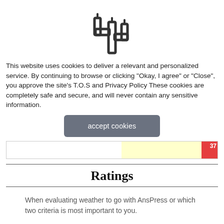[Figure (logo): Cactus icon outline logo centered at top of page]
This website uses cookies to deliver a relevant and personalized service. By continuing to browse or clicking "Okay, I agree" or "Close", you approve the site's T.O.S and Privacy Policy These cookies are completely safe and secure, and will never contain any sensitive information.
[Figure (other): Accept cookies button — rounded rectangle with grey background and white text reading 'accept cookies']
[Figure (other): Input row: white area, yellow highlighted area, red box with number 37]
Ratings
When evaluating weather to go with AnsPress or which two criteria is most important to you.